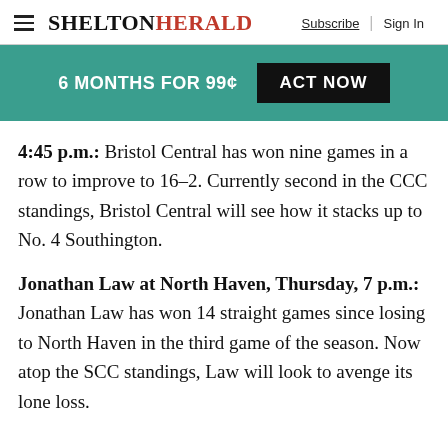SHELTONHERALD — Subscribe | Sign In
6 MONTHS FOR 99¢   ACT NOW
4:45 p.m.: Bristol Central has won nine games in a row to improve to 16–2. Currently second in the CCC standings, Bristol Central will see how it stacks up to No. 4 Southington.
Jonathan Law at North Haven, Thursday, 7 p.m.: Jonathan Law has won 14 straight games since losing to North Haven in the third game of the season. Now atop the SCC standings, Law will look to avenge its lone loss.